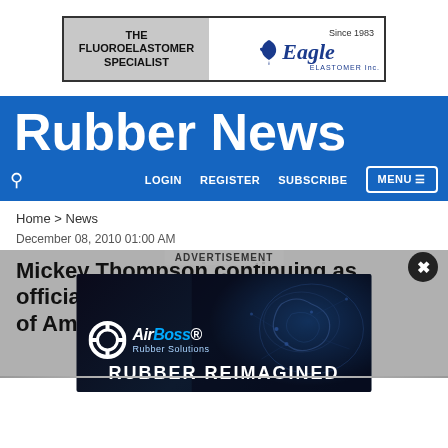[Figure (other): Eagle Elastomer advertisement banner: 'THE FLUOROELASTOMER SPECIALIST' with eagle logo, 'Since 1983']
Rubber News
LOGIN   REGISTER   SUBSCRIBE   MENU
Home > News
December 08, 2010 01:00 AM
Mickey Thompson continuing as official of American Race Racing assoc...
[Figure (other): AirBoss Rubber Solutions advertisement overlay with brain graphic: RUBBER REIMAGINED]
ADVERTISEMENT